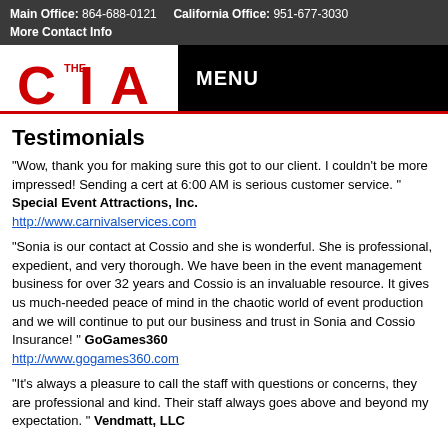Main Office: 864-688-0121   California Office: 951-677-3030
More Contact Info
[Figure (logo): The CIA logo in red with stylized letters C, I, A]
MENU
Testimonials
"Wow, thank you for making sure this got to our client. I couldn't be more impressed! Sending a cert at 6:00 AM is serious customer service. " Special Event Attractions, Inc. http://www.carnivalservices.com
"Sonia is our contact at Cossio and she is wonderful. She is professional, expedient, and very thorough. We have been in the event management business for over 32 years and Cossio is an invaluable resource. It gives us much-needed peace of mind in the chaotic world of event production and we will continue to put our business and trust in Sonia and Cossio Insurance! " GoGames360 http://www.gogames360.com
"It's always a pleasure to call the staff with questions or concerns, they are professional and kind. Their staff always goes above and beyond my expectation. " Vendmatt, LLC